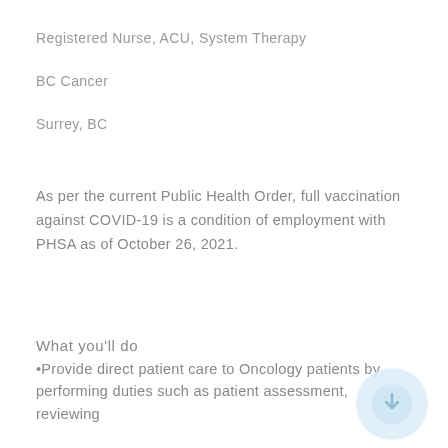Registered Nurse, ACU, System Therapy
BC Cancer
Surrey, BC
As per the current Public Health Order, full vaccination against COVID-19 is a condition of employment with PHSA as of October 26, 2021.
What you'll do
•Provide direct patient care to Oncology patients by performing duties such as patient assessment, reviewing